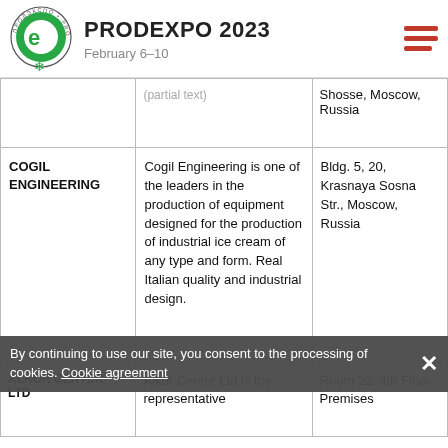PRODEXPO 2023 February 6–10
|  | (partial text) | Shosse, Moscow, Russia |
| COGIL ENGINEERING | Cogil Engineering is one of the leaders in the production of equipment designed for the production of industrial ice cream of any type and form. Real Italian quality and industrial design. | Bldg. 5, 20, Krasnaya Sosna Str., Moscow, Russia |
| ALKOR CENTER LTD | Alkor Center Ltd is the representative | Room 22, 4th Floor, Premises |
By continuing to use our site, you consent to the processing of cookies. Cookie agreement